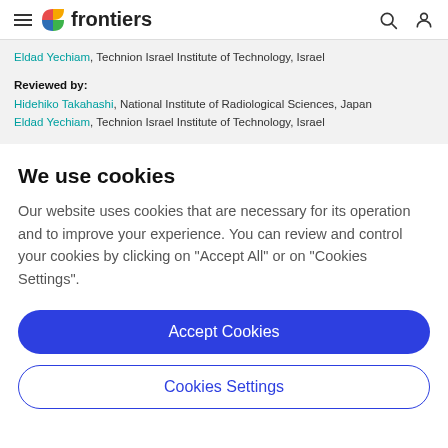frontiers
Eldad Yechiam, Technion Israel Institute of Technology, Israel
Reviewed by:
Hidehiko Takahashi, National Institute of Radiological Sciences, Japan
Eldad Yechiam, Technion Israel Institute of Technology, Israel
We use cookies
Our website uses cookies that are necessary for its operation and to improve your experience. You can review and control your cookies by clicking on "Accept All" or on "Cookies Settings".
Accept Cookies
Cookies Settings